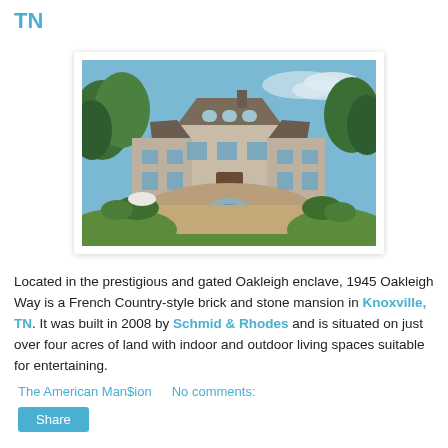TN
[Figure (photo): Aerial/front-facing photo of a large French Country-style brick and stone mansion with circular driveway, fountain, and lush green landscaping.]
Located in the prestigious and gated Oakleigh enclave, 1945 Oakleigh Way is a French Country-style brick and stone mansion in Knoxville, TN. It was built in 2008 by Schmid & Rhodes and is situated on just over four acres of land with indoor and outdoor living spaces suitable for entertaining.
The American Man$ion   No comments:   Share